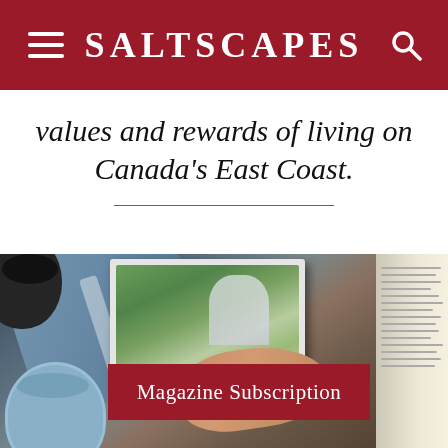SALTSCAPES
values and rewards of living on Canada's East Coast.
[Figure (photo): Overhead view of a person's hand leafing through a magazine on a wooden table, with a blue cloth, coffee cups, and an open book visible. A red subscription button overlay reads 'Magazine Subscription'.]
Magazine Subscription